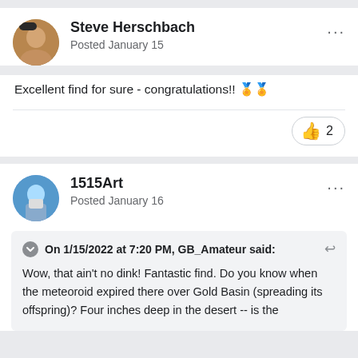Steve Herschbach
Posted January 15
Excellent find for sure - congratulations!! 🏅🏅
👍 2
1515Art
Posted January 16
On 1/15/2022 at 7:20 PM, GB_Amateur said:
Wow, that ain't no dink!  Fantastic find.  Do you know when the meteoroid expired there over Gold Basin (spreading its offspring)?  Four inches deep in the desert -- is the